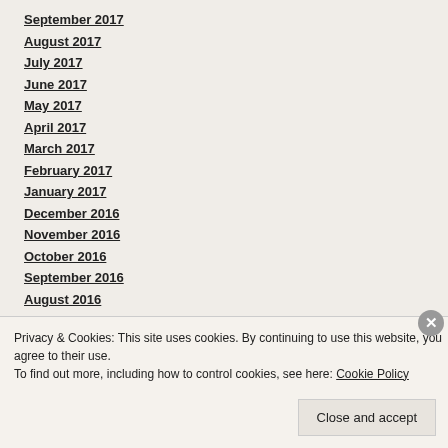September 2017
August 2017
July 2017
June 2017
May 2017
April 2017
March 2017
February 2017
January 2017
December 2016
November 2016
October 2016
September 2016
August 2016
July 2016
Privacy & Cookies: This site uses cookies. By continuing to use this website, you agree to their use. To find out more, including how to control cookies, see here: Cookie Policy
Close and accept